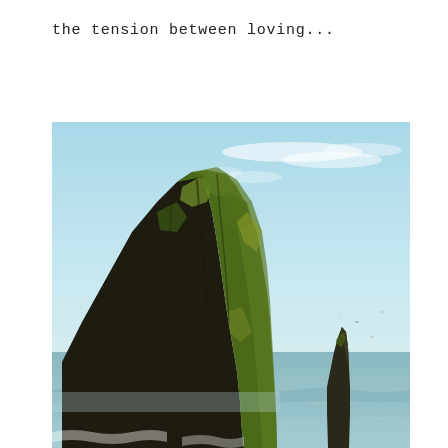the tension between loving...
[Figure (photo): A large mossy coastal rock formation (Haystack Rock, Cannon Beach) rising steeply from the ocean, with a smaller sea stack visible in the background to the right. Light blue sky with wispy clouds above, ocean waves at the base.]